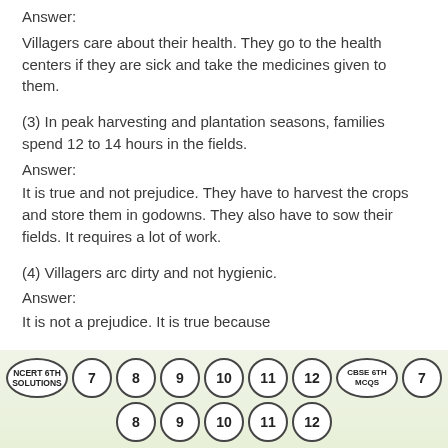Answer:
Villagers care about their health. They go to the health centers if they are sick and take the medicines given to them.
(3) In peak harvesting and plantation seasons, families spend 12 to 14 hours in the fields.
Answer:
It is true and not prejudice. They have to harvest the crops and store them in godowns. They also have to sow their fields. It requires a lot of work.
(4) Villagers arc dirty and not hygienic.
Answer:
It is not a prejudice. It is true because
NCERT 6TH SOLUTIONS  7  8  9  10  11  12  CBSE 6TH MCQS  7  8  9  10  11  12